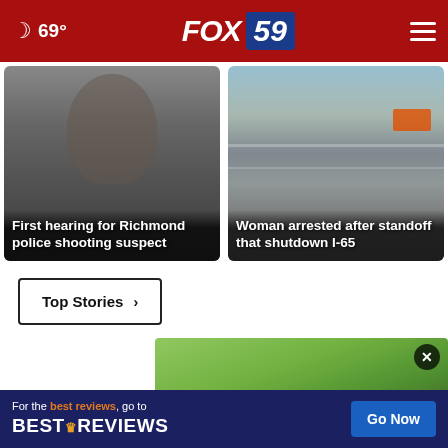69° FOX 59
[Figure (photo): Close-up photo of a man's face, dark background. Overlay text: First hearing for Richmond police shooting suspect]
[Figure (photo): Aerial or elevated view of a highway with police vehicles and emergency trucks. Overlay text: Woman arrested after standoff that shutdown I-65]
Top Stories ›
[Figure (photo): Partial view of outdoor scene with green foliage and water]
For the best reviews, go to BESTREVIEWS
Go Now